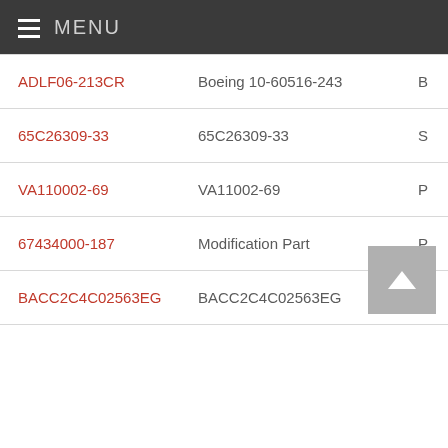MENU
ADLF06-213CR	Boeing 10-60516-243	B
65C26309-33	65C26309-33	S
VA110002-69	VA11002-69	P
67434000-187	Modification Part	P
BACC2C4C02563EG	BACC2C4C02563EG	C